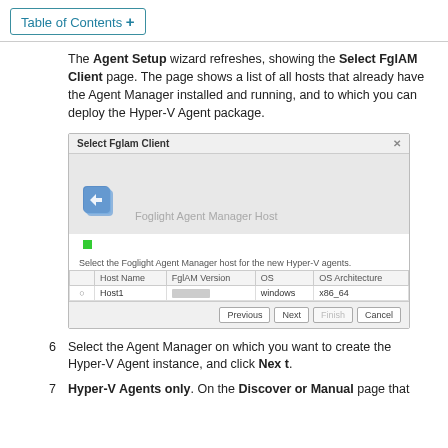Table of Contents +
The Agent Setup wizard refreshes, showing the Select FglAM Client page. The page shows a list of all hosts that already have the Agent Manager installed and running, and to which you can deploy the Hyper-V Agent package.
[Figure (screenshot): Select Fglam Client dialog showing Foglight Agent Manager Host icon, a table with Host Name, FglAM Version, OS, OS Architecture columns, and a row with Host1, windows, x86_64. Buttons: Previous, Next, Finish (disabled), Cancel.]
Select the Agent Manager on which you want to create the Hyper-V Agent instance, and click Next.
Hyper-V Agents only. On the Discover or Manual page that